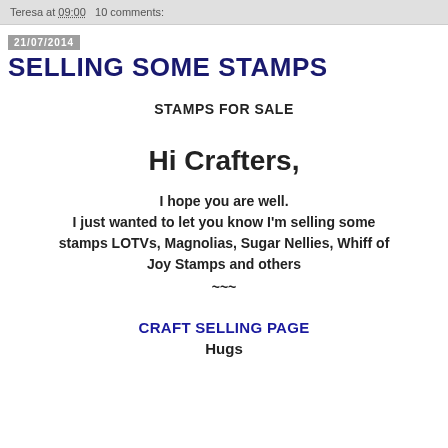Teresa at 09:00   10 comments:
21/07/2014
SELLING SOME STAMPS
STAMPS FOR SALE
Hi Crafters,
I hope you are well.
I just wanted to let you know I'm selling some stamps LOTVs, Magnolias, Sugar Nellies, Whiff of Joy Stamps and others
~~~
CRAFT SELLING PAGE
Hugs